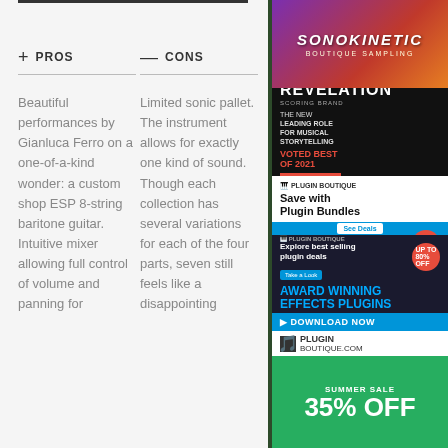PROS: Beautiful performances by Gianluca Ferro on a one-of-a-kind wonder: a custom shop ESP 8-string baritone guitar. Intuitive mixer allowing full control of volume and panning for
CONS: Limited sonic pallet. The instrument allows for exactly one kind of sound. Though each collection has several variations for each of the four parts, seven still feels like a disappointing
[Figure (advertisement): Sonokinetic boutique sampling advertisement with orange/purple gradient background]
[Figure (advertisement): Revelation Scoring Brand advertisement on black background - The New Leading Role For Musical Storytelling, Voted Best of 2021, On Sale Now]
[Figure (advertisement): Plugin Boutique advertisement - Save with Plugin Bundles, up to 60% off, Explore best selling plugin deals up to 80% off, Award Winning Effects Plugins, Download Now]
[Figure (advertisement): Summer Sale 35% OFF advertisement on green background]